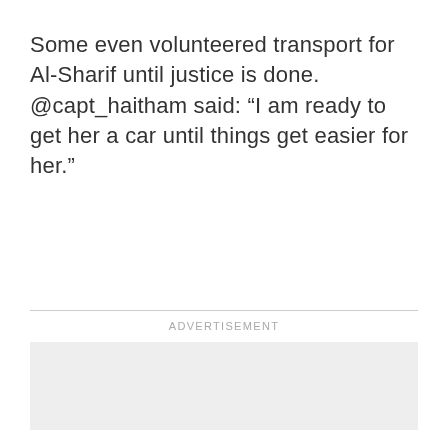Some even volunteered transport for Al-Sharif until justice is done. @capt_haitham said: “I am ready to get her a car until things get easier for her.”
ADVERTISEMENT
[Figure (other): Advertisement placeholder — light grey rectangle]